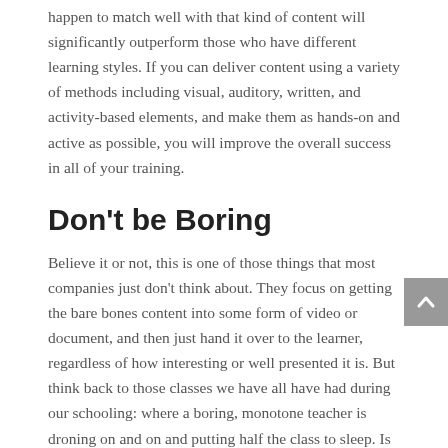happen to match well with that kind of content will significantly outperform those who have different learning styles. If you can deliver content using a variety of methods including visual, auditory, written, and activity-based elements, and make them as hands-on and active as possible, you will improve the overall success in all of your training.
Don't be Boring
Believe it or not, this is one of those things that most companies just don't think about. They focus on getting the bare bones content into some form of video or document, and then just hand it over to the learner, regardless of how interesting or well presented it is. But think back to those classes we have all have had during our schooling: where a boring, monotone teacher is droning on and on and putting half the class to sleep. Is that what your content is like? If so, can you really expect your team